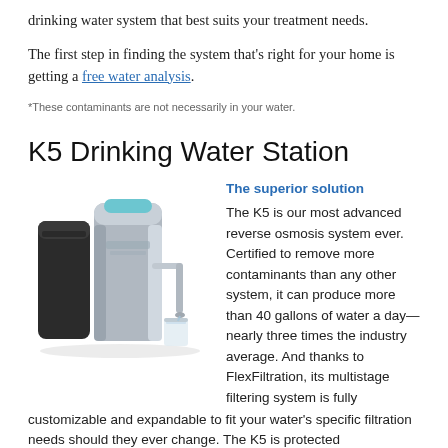drinking water system that best suits your treatment needs.
The first step in finding the system that's right for your home is getting a free water analysis.
*These contaminants are not necessarily in your water.
K5 Drinking Water Station
[Figure (photo): K5 Drinking Water Station product photo showing a sleek silver and black reverse osmosis unit with a faucet and glass of water]
The superior solution
The K5 is our most advanced reverse osmosis system ever. Certified to remove more contaminants than any other system, it can produce more than 40 gallons of water a day—nearly three times the industry average. And thanks to FlexFiltration, its multistage filtering system is fully customizable and expandable to fit your water's specific filtration needs should they ever change. The K5 is protected